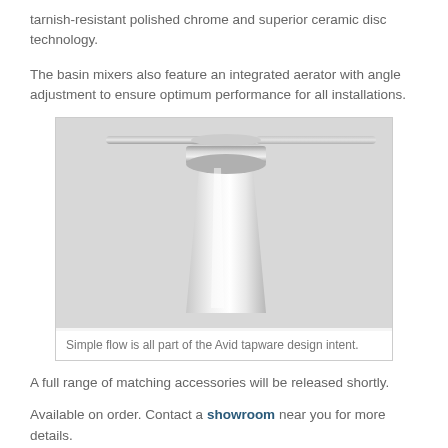tarnish-resistant polished chrome and superior ceramic disc technology.
The basin mixers also feature an integrated aerator with angle adjustment to ensure optimum performance for all installations.
[Figure (photo): Close-up photo of a basin mixer tap showing water flowing from the spout, with chrome fittings visible at the top.]
Simple flow is all part of the Avid tapware design intent.
A full range of matching accessories will be released shortly.
Available on order. Contact a showroom near you for more details.
Interested in hearing more about Avid's design? See below the